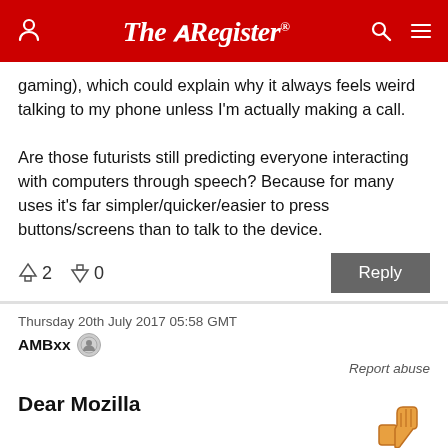The Register
gaming), which could explain why it always feels weird talking to my phone unless I'm actually making a call.

Are those futurists still predicting everyone interacting with computers through speech? Because for many uses it's far simpler/quicker/easier to press buttons/screens than to talk to the device.
↑2  ↓0
Thursday 20th July 2017 05:58 GMT
AMBxx
Report abuse
Dear Mozilla
Stop mucking about with the latest trend and concentrate on making Firefox as good as Chrome.
↑5  ↓0